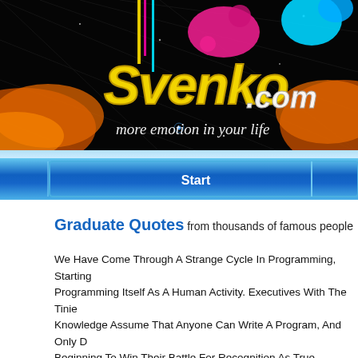[Figure (screenshot): Svenko.com website header banner with colorful paint splashes, stars, nebula effect on dark background. Yellow cursive logo text 'Svenko.com' and tagline 'more emotion in your life' in white italic script.]
[Figure (screenshot): Blue gradient navigation bar with white bold text buttons: Start, Images, Av (partially visible)]
Graduate Quotes from thousands of famous people
We Have Come Through A Strange Cycle In Programming, Starting Programming Itself As A Human Activity. Executives With The Tinie Knowledge Assume That Anyone Can Write A Program, And Only D Beginning To Win Their Battle For Recognition As True Professiona With Any Background, Or Any Training, Can Do A Fine Job Of Pro Programmers Know This, But Then Why Is It That They Think That Street Can Do Documentation? One Has Only To Spend An Hour L